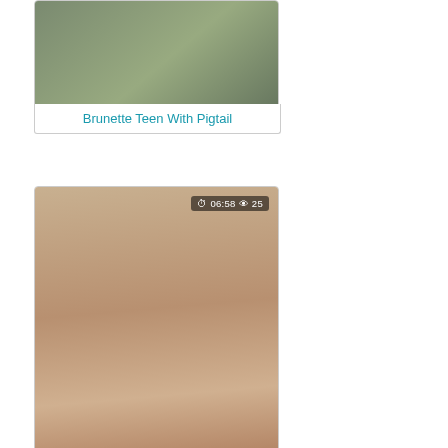[Figure (photo): Video thumbnail - first card, partially visible at top]
Brunette Teen With Pigtail
[Figure (photo): Video thumbnail with badge showing 06:58 duration and 25 views]
Hot cum in a wide fisted slot
[Figure (photo): Video thumbnail with badge showing 20:15 duration and 19 views]
Amelia Lyn presented in